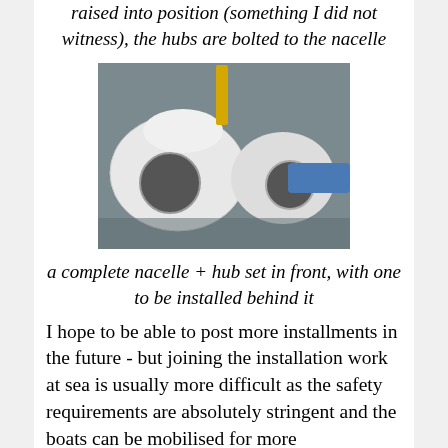raised into position (something I did not witness), the hubs are bolted to the nacelle
[Figure (photo): Wind turbine nacelle and hub components laid on the ground, showing white rounded nacelle housings with circular openings, photographed outdoors]
a complete nacelle + hub set in front, with one to be installed behind it
I hope to be able to post more installments in the future - but joining the installation work at sea is usually more difficult as the safety requirements are absolutely stringent and the boats can be mobilised for more